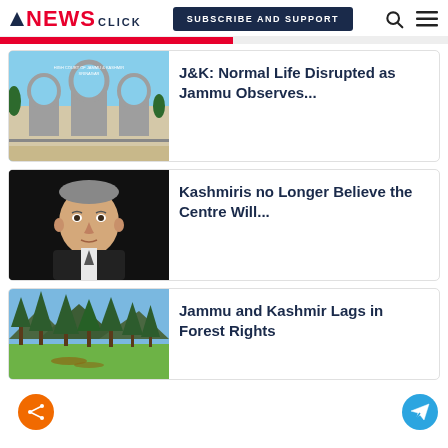NewsClick — SUBSCRIBE AND SUPPORT
[Figure (photo): High Court of Jammu & Kashmir gate with arches, Srinagar]
J&K: Normal Life Disrupted as Jammu Observes...
[Figure (photo): Portrait of a man in a suit against a black background]
Kashmiris no Longer Believe the Centre Will...
[Figure (photo): Forest landscape with tall trees and green meadow in Jammu and Kashmir]
Jammu and Kashmir Lags in Forest Rights